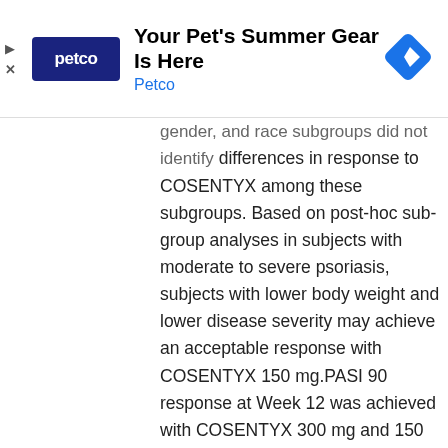[Figure (other): Petco advertisement banner showing Petco logo (dark blue square with 'petco' text), headline 'Your Pet's Summer Gear Is Here', subtext 'Petco' in blue, and a blue diamond navigation icon on the right. Play and close icons on the left side.]
gender, and race subgroups did not identify differences in response to COSENTYX among these subgroups. Based on post-hoc sub-group analyses in subjects with moderate to severe psoriasis, subjects with lower body weight and lower disease severity may achieve an acceptable response with COSENTYX 150 mg.PASI 90 response at Week 12 was achieved with COSENTYX 300 mg and 150 mg compared to placebo in 59% (145/245) and 39% (95/245) versus 1% (3/248) of subjects, respectively (Trial PsO1) and 54% (175/327) and 42% (137/327) versus 2% (5/326) of subjects, respectively (Trial PsO2). Similar results were seen in Trials PsO3 and PsO4.With continued treatment over 52 weeks, subjects in Trial PsO1 who were PASI 75 responders at Week 12 maintained their responses in 81% (161/200) of the subjects